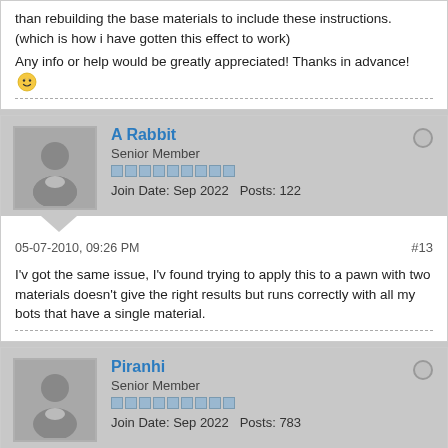than rebuilding the base materials to include these instructions. (which is how i have gotten this effect to work)

Any info or help would be greatly appreciated! Thanks in advance!
A Rabbit
Senior Member
Join Date: Sep 2022   Posts: 122
05-07-2010, 09:26 PM
#13
I'v got the same issue, I'v found trying to apply this to a pawn with two materials doesn't give the right results but runs correctly with all my bots that have a single material.
Piranhi
Senior Member
Join Date: Sep 2022   Posts: 783